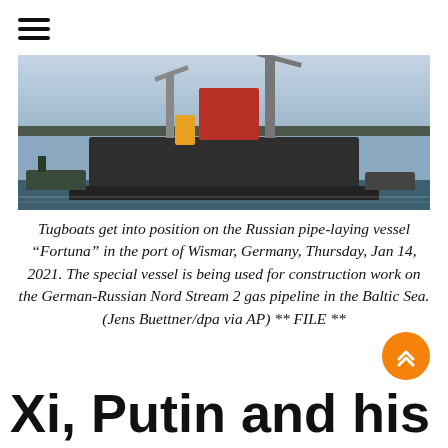[Figure (photo): Tugboats positioned around the Russian pipe-laying vessel Fortuna in the port of Wismar, Germany, with cranes and red superstructure visible, on a grey winter day.]
Tugboats get into position on the Russian pipe-laying vessel “Fortuna” in the port of Wismar, Germany, Thursday, Jan 14, 2021. The special vessel is being used for construction work on the German-Russian Nord Stream 2 gas pipeline in the Baltic Sea. (Jens Buettner/dpa via AP) ** FILE **
Xi, Putin and his bot...